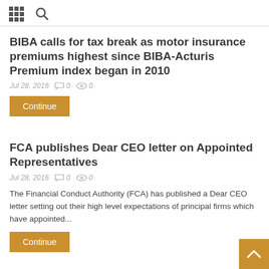[grid icon] [search icon]
BIBA calls for tax break as motor insurance premiums highest since BIBA-Acturis Premium index began in 2010
Jul 28, 2016  0  0
Continue
FCA publishes Dear CEO letter on Appointed Representatives
Jul 28, 2016  0  0
The Financial Conduct Authority (FCA) has published a Dear CEO letter setting out their high level expectations of principal firms which have appointed...
Continue